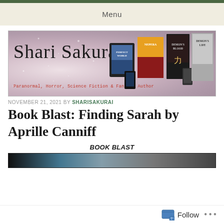Menu
[Figure (illustration): Shari Sakurai author website banner showing cursive logo text 'Shari Sakurai', tagline 'Paranormal, Horror, Science Fiction & Fantasy Author', and book cover images including Perfect World, Nepera, Demon's Blood, and Demon's Life on a pink/purple sparkly background]
NOVEMBER 21, 2021 BY SHARISAKURAI
Book Blast: Finding Sarah by Aprille Canniff
BOOK BLAST
[Figure (photo): Partial book cover image at the bottom of the page, partially cut off]